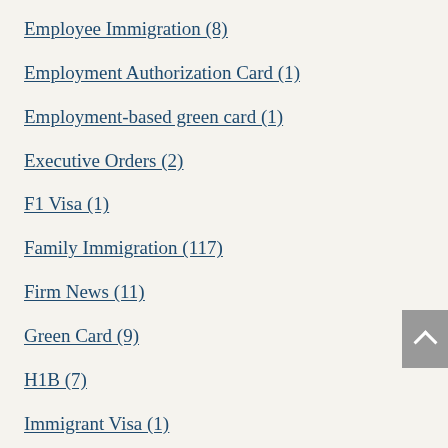Employee Immigration (8)
Employment Authorization Card (1)
Employment-based green card (1)
Executive Orders (2)
F1 Visa (1)
Family Immigration (117)
Firm News (11)
Green Card (9)
H1B (7)
Immigrant Visa (1)
Immigration benefits (6)